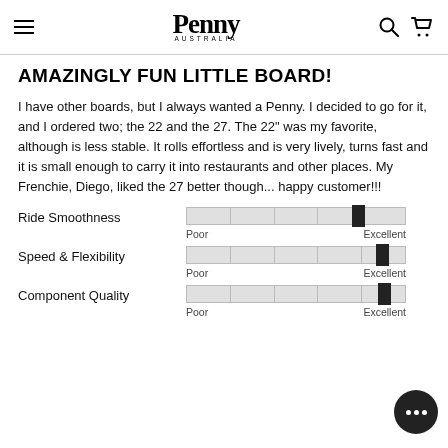Penny Australia
AMAZINGLY FUN LITTLE BOARD!
I have other boards, but I always wanted a Penny. I decided to go for it, and I ordered two; the 22 and the 27. The 22" was my favorite, although is less stable. It rolls effortless and is very lively, turns fast and it is small enough to carry it into restaurants and other places. My Frenchie, Diego, liked the 27 better though... happy customer!!!
[Figure (infographic): Ride Smoothness rating bar showing slider near Excellent end. Scale: Poor to Excellent.]
[Figure (infographic): Speed & Flexibility rating bar showing slider near Excellent end. Scale: Poor to Excellent.]
[Figure (infographic): Component Quality rating bar showing slider near Excellent end. Scale: Poor to Excellent.]